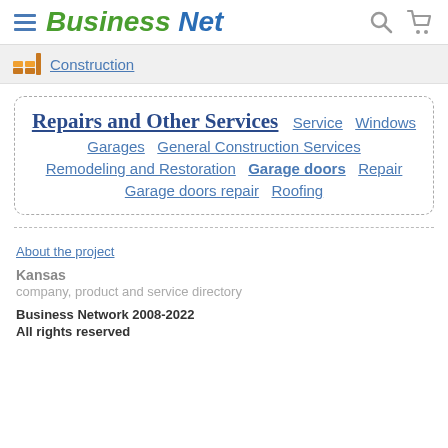Business Net
Construction
Repairs and Other Services  Service  Windows  Garages  General Construction Services  Remodeling and Restoration  Garage doors  Repair  Garage doors repair  Roofing
About the project
Kansas
company, product and service directory
Business Network 2008-2022
All rights reserved